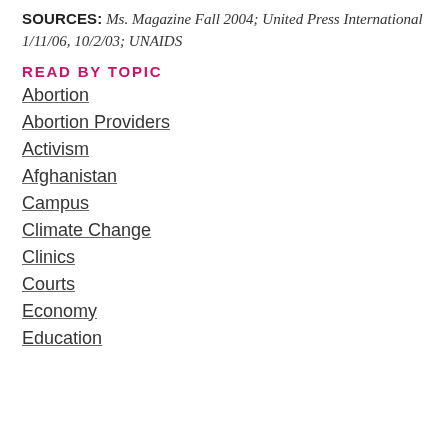SOURCES: Ms. Magazine Fall 2004; United Press International 1/11/06, 10/2/03; UNAIDS
READ BY TOPIC
Abortion
Abortion Providers
Activism
Afghanistan
Campus
Climate Change
Clinics
Courts
Economy
Education